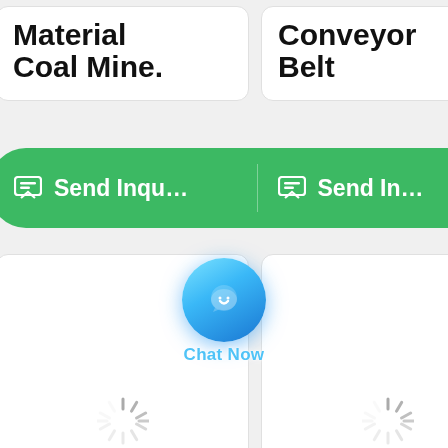Material Coal Mine.
Conveyor Belt
[Figure (screenshot): Green 'Send Inquiry' buttons for two product listings (Material Coal Mine and Conveyor Belt), with a floating blue 'Chat Now' button overlay in the center, and two loading spinner placeholders in the lower product card area.]